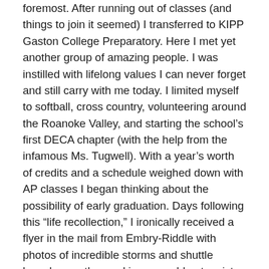foremost. After running out of classes (and things to join it seemed) I transferred to KIPP Gaston College Preparatory. Here I met yet another group of amazing people. I was instilled with lifelong values I can never forget and still carry with me today. I limited myself to softball, cross country, volunteering around the Roanoke Valley, and starting the school's first DECA chapter (with the help from the infamous Ms. Tugwell). With a year's worth of credits and a schedule weighed down with AP classes I began thinking about the possibility of early graduation. Days following this “life recollection,” I ironically received a flyer in the mail from Embry-Riddle with photos of incredible storms and shuttle launches — the nerd in me could not resist. Over spring break I took time to drive ten hours south from my hometown of Roanoke Rapids to Daytona Beach. I chose to ask a friend to accompany me rather than family. For me this had to be the point where I spread my wings in trial if I was going to consider leaving home earlier than